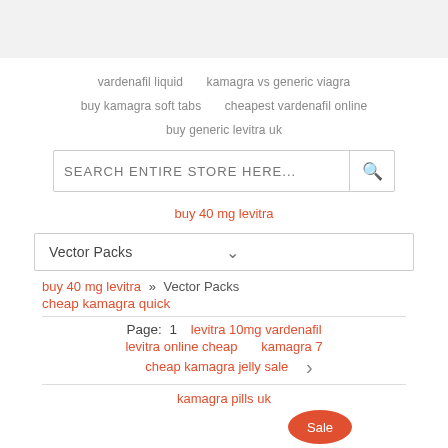vardenafil liquid   kamagra vs generic viagra
buy kamagra soft tabs   cheapest vardenafil online
buy generic levitra uk
SEARCH ENTIRE STORE HERE...
buy 40 mg levitra
Vector Packs
buy 40 mg levitra » Vector Packs
cheap kamagra quick
Page: 1   levitra 10mg vardenafil
levitra online cheap   kamagra 7
cheap kamagra jelly sale
kamagra pills uk
Sale